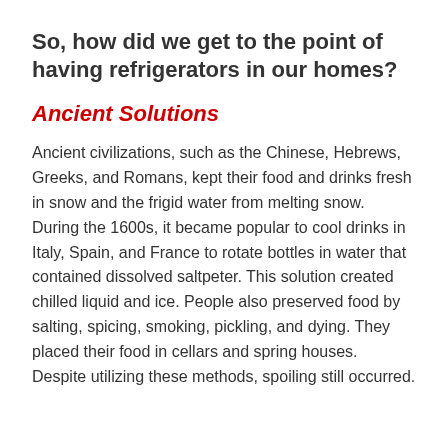So, how did we get to the point of having refrigerators in our homes?
Ancient Solutions
Ancient civilizations, such as the Chinese, Hebrews, Greeks, and Romans, kept their food and drinks fresh in snow and the frigid water from melting snow. During the 1600s, it became popular to cool drinks in Italy, Spain, and France to rotate bottles in water that contained dissolved saltpeter. This solution created chilled liquid and ice. People also preserved food by salting, spicing, smoking, pickling, and dying. They placed their food in cellars and spring houses. Despite utilizing these methods, spoiling still occurred.